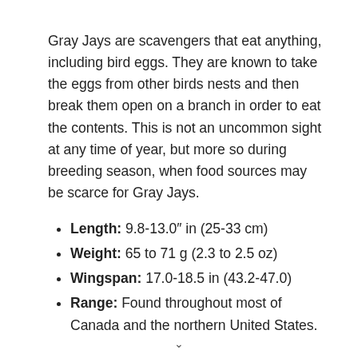Gray Jays are scavengers that eat anything, including bird eggs. They are known to take the eggs from other birds nests and then break them open on a branch in order to eat the contents. This is not an uncommon sight at any time of year, but more so during breeding season, when food sources may be scarce for Gray Jays.
Length: 9.8-13.0" in (25-33 cm)
Weight: 65 to 71 g (2.3 to 2.5 oz)
Wingspan: 17.0-18.5 in (43.2-47.0)
Range: Found throughout most of Canada and the northern United States.